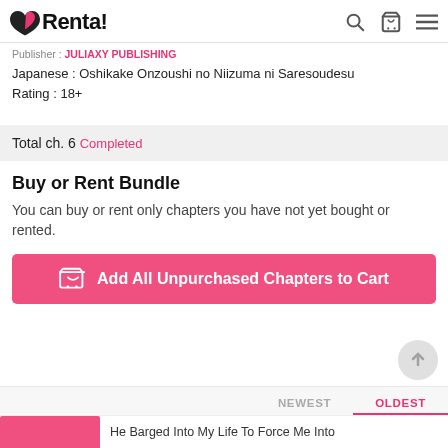Renta!
Publisher : JULIAXY PUBLISHING
Japanese : Oshikake Onzoushi no Niizuma ni Saresoudesu
Rating : 18+
Total ch. 6  Completed
Buy or Rent Bundle
You can buy or rent only chapters you have not yet bought or rented.
Add All Unpurchased Chapters to Cart
NEWEST  OLDEST
He Barged Into My Life To Force Me Into